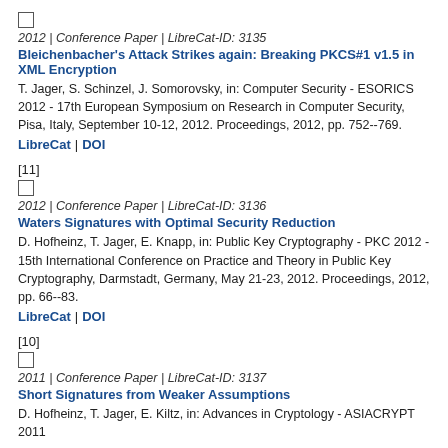☐
2012 | Conference Paper | LibreCat-ID: 3135
Bleichenbacher's Attack Strikes again: Breaking PKCS#1 v1.5 in XML Encryption
T. Jager, S. Schinzel, J. Somorovsky, in: Computer Security - ESORICS 2012 - 17th European Symposium on Research in Computer Security, Pisa, Italy, September 10-12, 2012. Proceedings, 2012, pp. 752--769.
LibreCat | DOI
[11]
☐
2012 | Conference Paper | LibreCat-ID: 3136
Waters Signatures with Optimal Security Reduction
D. Hofheinz, T. Jager, E. Knapp, in: Public Key Cryptography - PKC 2012 - 15th International Conference on Practice and Theory in Public Key Cryptography, Darmstadt, Germany, May 21-23, 2012. Proceedings, 2012, pp. 66--83.
LibreCat | DOI
[10]
☐
2011 | Conference Paper | LibreCat-ID: 3137
Short Signatures from Weaker Assumptions
D. Hofheinz, T. Jager, E. Kiltz, in: Advances in Cryptology - ASIACRYPT 2011